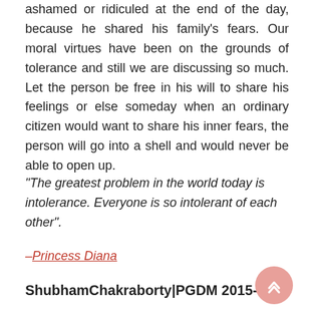ashamed or ridiculed at the end of the day, because he shared his family's fears. Our moral virtues have been on the grounds of tolerance and still we are discussing so much. Let the person be free in his will to share his feelings or else someday when an ordinary citizen would want to share his inner fears, the person will go into a shell and would never be able to open up.
“The greatest problem in the world today is intolerance. Everyone is so intolerant of each other”.
–Princess Diana
ShubhamChakraborty|PGDM 2015-17